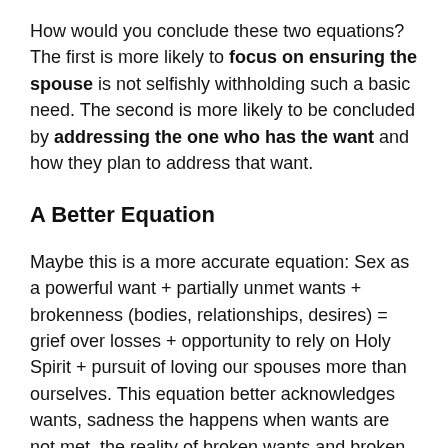How would you conclude these two equations? The first is more likely to focus on ensuring the spouse is not selfishly withholding such a basic need. The second is more likely to be concluded by addressing the one who has the want and how they plan to address that want.
A Better Equation
Maybe this is a more accurate equation: Sex as a powerful want + partially unmet wants + brokenness (bodies, relationships, desires) = grief over losses + opportunity to rely on Holy Spirit + pursuit of loving our spouses more than ourselves. This equation better acknowledges wants, sadness the happens when wants are not met, the reality of broken wants and broken bodies but also points to a better goal of reliance on God and the focus of love more than getting our thing.